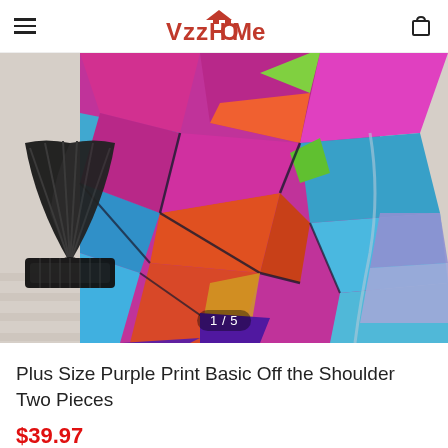VzzHome
[Figure (photo): Product photo of a colorful purple, blue, orange, and teal geometric/abstract print skirt/dress bottom, displayed on a model, styled with a black wicker decorative fan in the background on a whitewashed wood floor. Image counter shows 1/5.]
Plus Size Purple Print Basic Off the Shoulder Two Pieces
$39.97